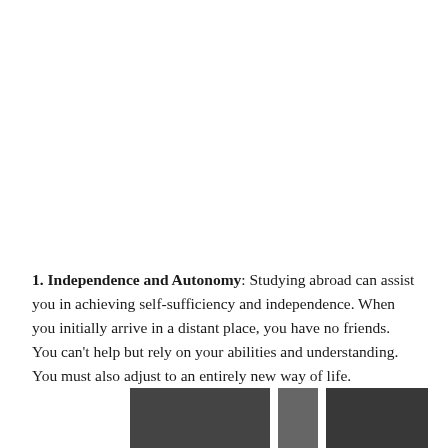1. Independence and Autonomy: Studying abroad can assist you in achieving self-sufficiency and independence. When you initially arrive in a distant place, you have no friends. You can't help but rely on your abilities and understanding. You must also adjust to an entirely new way of life.
[Figure (photo): A photograph showing people in an urban/city setting, partially visible at the bottom of the page.]